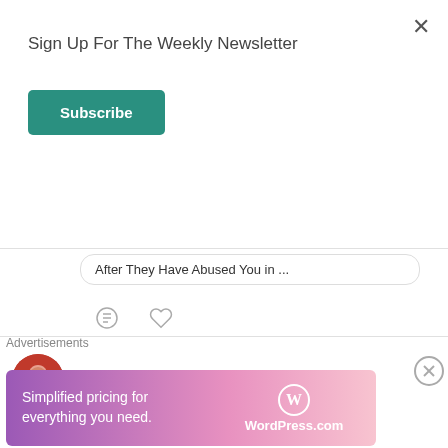Sign Up For The Weekly Newsletter
Subscribe
After They Have Abused You in ...
[Figure (screenshot): Tweet by Ufuomaee @UfuomaeeB · Aug 27: Ten Things We'll Probably Do In Heaven... ufuomaee.blog/2022/08/27/ten...]
Advertisements
[Figure (screenshot): WordPress.com advertisement banner: Simplified pricing for everything you need.]